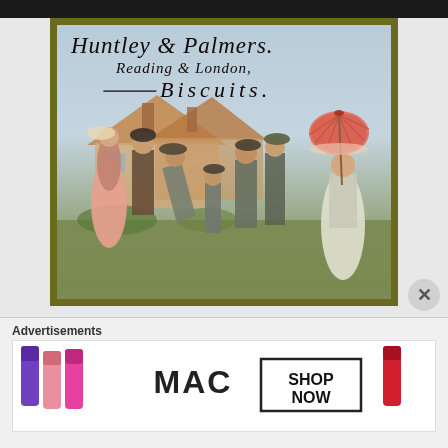[Figure (illustration): Vintage Huntley & Palmers biscuit trade card showing Victorian-era figures (men, women and children) gathered outdoors near a thatched cottage. A woman with a red parasol is on the right. The card has a dark olive/gold border.]
Huntley & Palmers. Reading & London, Biscuits.
Advertisements
[Figure (screenshot): MAC cosmetics advertisement banner showing lipsticks in purple, pink and red colors, MAC logo, and a SHOP NOW button.]